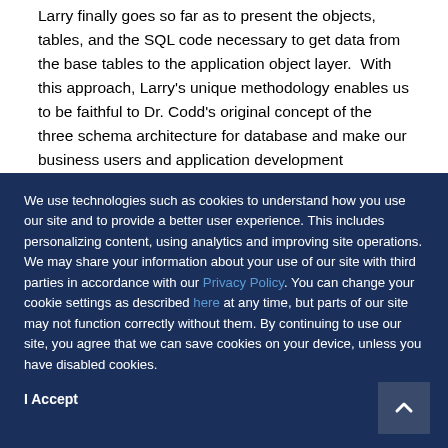Larry finally goes so far as to present the objects, tables, and the SQL code necessary to get data from the base tables to the application object layer.  With this approach, Larry's unique methodology enables us to be faithful to Dr. Codd's original concept of the three schema architecture for database and make our business users and application development colleagues happy at the same time. Codd something original/Relational Model for Data...
We use technologies such as cookies to understand how you use our site and to provide a better user experience. This includes personalizing content, using analytics and improving site operations. We may share your information about your use of our site with third parties in accordance with our Privacy Policy. You can change your cookie settings as described here at any time, but parts of our site may not function correctly without them. By continuing to use our site, you agree that we can save cookies on your device, unless you have disabled cookies.
I Accept